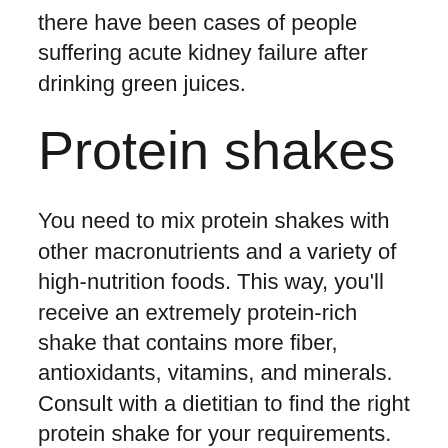there have been cases of people suffering acute kidney failure after drinking green juices.
Protein shakes
You need to mix protein shakes with other macronutrients and a variety of high-nutrition foods. This way, you'll receive an extremely protein-rich shake that contains more fiber, antioxidants, vitamins, and minerals. Consult with a dietitian to find the right protein shake for your requirements. This will ensure that you get all the nutrients you need and will help you lose weight.
I...